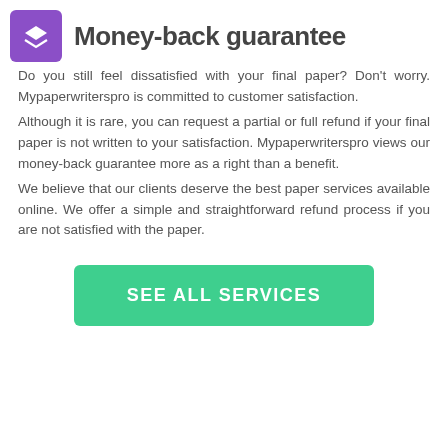Money-back guarantee
Do you still feel dissatisfied with your final paper? Don't worry. Mypaperwriterspro is committed to customer satisfaction.
Although it is rare, you can request a partial or full refund if your final paper is not written to your satisfaction. Mypaperwriterspro views our money-back guarantee more as a right than a benefit.
We believe that our clients deserve the best paper services available online. We offer a simple and straightforward refund process if you are not satisfied with the paper.
SEE ALL SERVICES